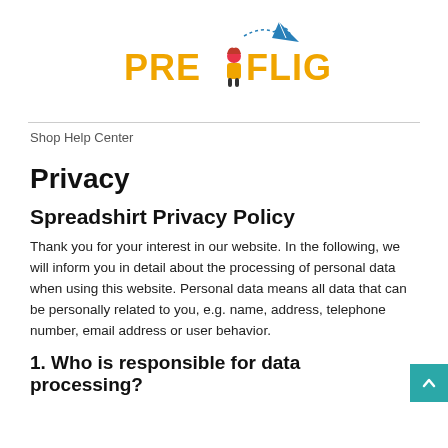[Figure (logo): Preflight logo with paper airplane graphic and orange/red text reading PRE FLIGHT]
Shop Help Center
Privacy
Spreadshirt Privacy Policy
Thank you for your interest in our website. In the following, we will inform you in detail about the processing of personal data when using this website. Personal data means all data that can be personally related to you, e.g. name, address, telephone number, email address or user behavior.
1. Who is responsible for data processing?